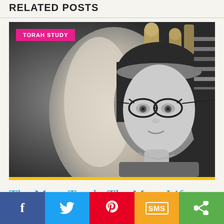RELATED POSTS
[Figure (photo): Black and white photograph of a woman with cat-eye glasses looking at a Torah scroll. A pink badge reads 'TORAH STUDY' in the top-left corner.]
The More Torah, The More Life
SEPTEMBER 22, 2021